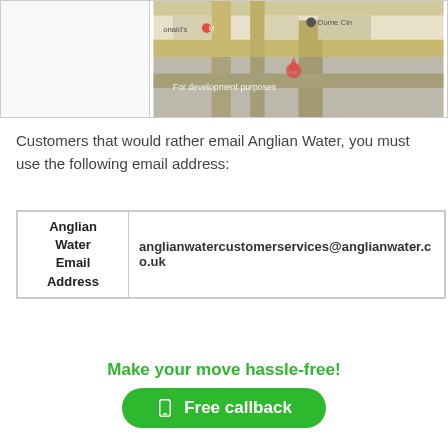[Figure (map): Google Maps screenshot showing street map with locations including McDonald's, Dome Cinema, marked with pins. Contains 'For development purposes' watermark overlay.]
Customers that would rather email Anglian Water, you must use the following email address:
| Anglian Water Email Address | anglianwatercustomerservices@anglianwater.co.uk |
Make your move hassle-free!
Free callback